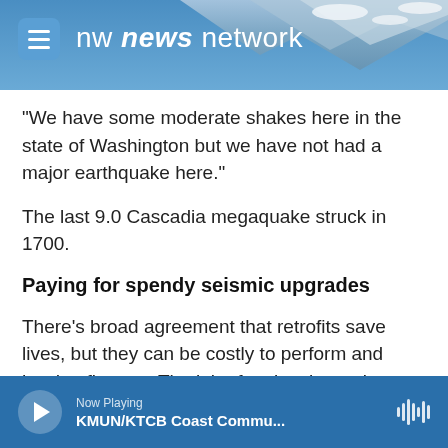[Figure (logo): NW News Network header with mountain background photo, hamburger menu button, and logo text 'nw news network']
“We have some moderate shakes here in the state of Washington but we have not had a major earthquake here.”
The last 9.0 Cascadia megaquake struck in 1700.
Paying for spendy seismic upgrades
There’s broad agreement that retrofits save lives, but they can be costly to perform and hard to finance. The job often involves tying together walls, floors and roofs and bracing cornices and parapets to prevent the raining of bricks and stones onto the
Now Playing
KMUN/KTCB Coast Commu...